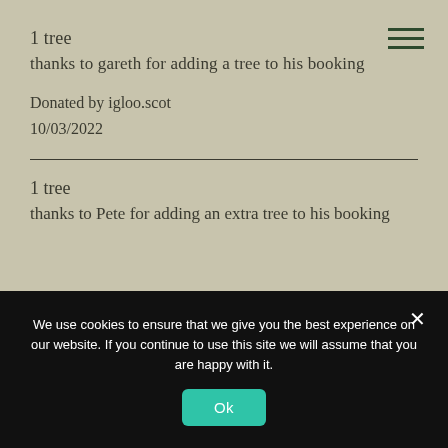1 tree
thanks to gareth for adding a tree to his booking
Donated by igloo.scot
10/03/2022
1 tree
thanks to Pete for adding an extra tree to his booking
We use cookies to ensure that we give you the best experience on our website. If you continue to use this site we will assume that you are happy with it.